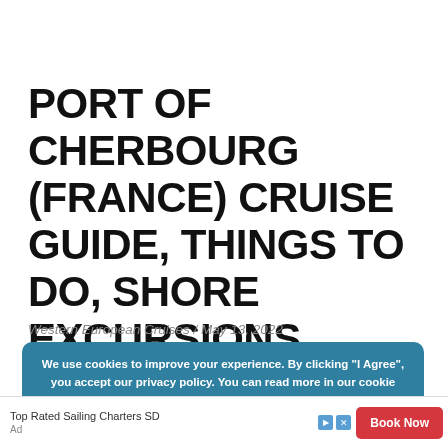PORT OF CHERBOURG (FRANCE) CRUISE GUIDE, THINGS TO DO, SHORE EXCURSIONS
Western European Cruises / May 13, 2022
We use cookies to improve your experience. By clicking "I Agree", you accept our privacy policy. You can read more in our cookie notice more information. I AGREE
Top Rated Sailing Charters SD  Book Now  Ad